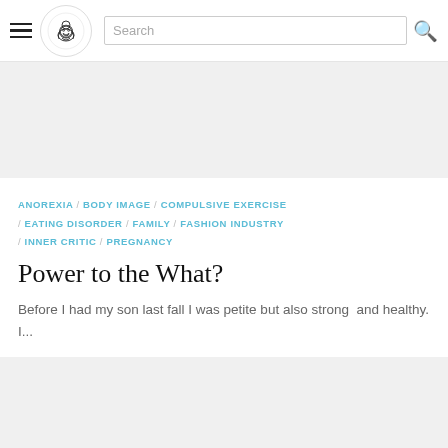[Figure (logo): Website header with hamburger menu, circular logo with illustrated figure, and search bar]
ANOREXIA / BODY IMAGE / COMPULSIVE EXERCISE / EATING DISORDER / FAMILY / FASHION INDUSTRY / INNER CRITIC / PREGNANCY
Power to the What?
Before I had my son last fall I was petite but also strong  and healthy. I...